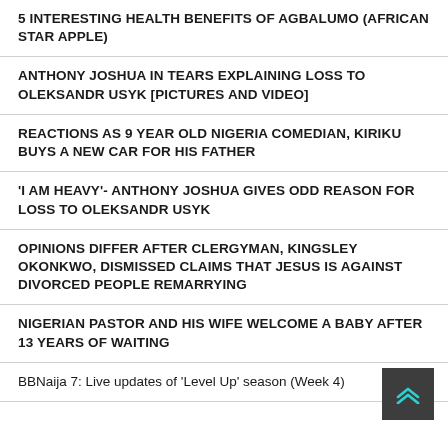5 INTERESTING HEALTH BENEFITS OF AGBALUMO (AFRICAN STAR APPLE)
ANTHONY JOSHUA IN TEARS EXPLAINING LOSS TO OLEKSANDR USYK [PICTURES AND VIDEO]
REACTIONS AS 9 YEAR OLD NIGERIA COMEDIAN, KIRIKU BUYS A NEW CAR FOR HIS FATHER
'I AM HEAVY'- ANTHONY JOSHUA GIVES ODD REASON FOR LOSS TO OLEKSANDR USYK
OPINIONS DIFFER AFTER CLERGYMAN, KINGSLEY OKONKWO, DISMISSED CLAIMS THAT JESUS IS AGAINST DIVORCED PEOPLE REMARRYING
NIGERIAN PASTOR AND HIS WIFE WELCOME A BABY AFTER 13 YEARS OF WAITING
BBNaija 7: Live updates of 'Level Up' season (Week 4)